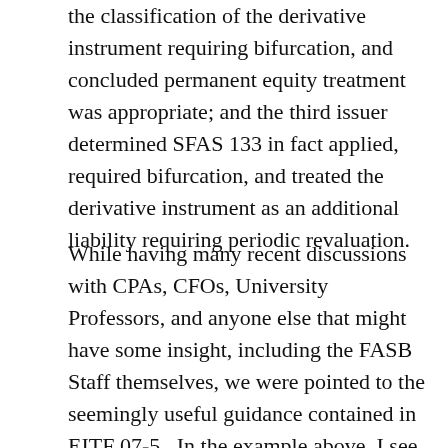the classification of the derivative instrument requiring bifurcation, and concluded permanent equity treatment was appropriate; and the third issuer determined SFAS 133 in fact applied, required bifurcation, and treated the derivative instrument as an additional liability requiring periodic revaluation.
While having many recent discussions with CPAs, CFOs, University Professors, and anyone else that might have some insight, including the FASB Staff themselves, we were pointed to the seemingly useful guidance contained in EITF 07-5.  In the example above, I see most issuers spending most of the time reaching for non-application of SFAS 133 under the